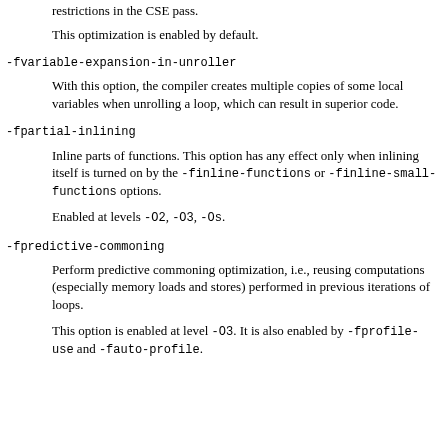restrictions in the CSE pass.
This optimization is enabled by default.
-fvariable-expansion-in-unroller
With this option, the compiler creates multiple copies of some local variables when unrolling a loop, which can result in superior code.
-fpartial-inlining
Inline parts of functions. This option has any effect only when inlining itself is turned on by the -finline-functions or -finline-small-functions options.
Enabled at levels -O2, -O3, -Os.
-fpredictive-commoning
Perform predictive commoning optimization, i.e., reusing computations (especially memory loads and stores) performed in previous iterations of loops.
This option is enabled at level -O3. It is also enabled by -fprofile-use and -fauto-profile.